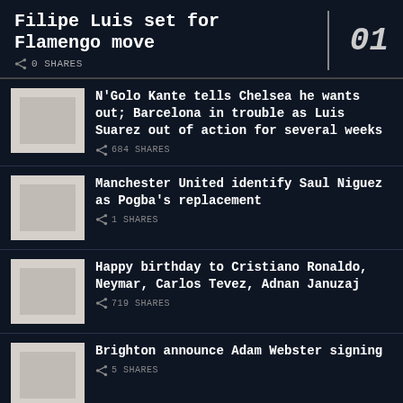Filipe Luis set for Flamengo move
0 SHARES
N'Golo Kante tells Chelsea he wants out; Barcelona in trouble as Luis Suarez out of action for several weeks — 684 SHARES
Manchester United identify Saul Niguez as Pogba's replacement — 1 SHARES
Happy birthday to Cristiano Ronaldo, Neymar, Carlos Tevez, Adnan Januzaj — 719 SHARES
Brighton announce Adam Webster signing — 5 SHARES